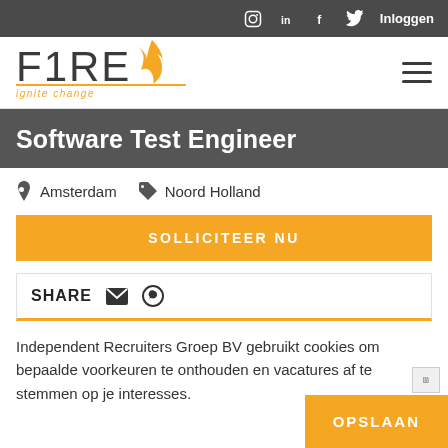Instagram  in  f  Twitter  Inloggen
[Figure (logo): F1RE ignite change logo with flame icon and orange underline]
Software Test Engineer
Amsterdam   Noord Holland
SOLLICITEER NU
SHARE
Independent Recruiters Groep BV gebruikt cookies om bepaalde voorkeuren te onthouden en vacatures af te stemmen op je interesses.
OPSLAAN